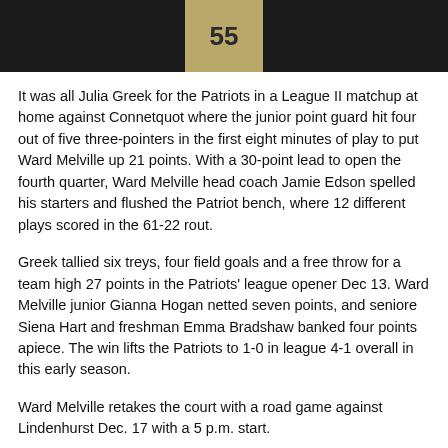[Figure (photo): Sports photo of a player wearing a Patriots jersey number 55, dark background]
It was all Julia Greek for the Patriots in a League II matchup at home against Connetquot where the junior point guard hit four out of five three-pointers in the first eight minutes of play to put Ward Melville up 21 points. With a 30-point lead to open the fourth quarter, Ward Melville head coach Jamie Edson spelled his starters and flushed the Patriot bench, where 12 different plays scored in the 61-22 rout.
Greek tallied six treys, four field goals and a free throw for a team high 27 points in the Patriots' league opener Dec 13. Ward Melville junior Gianna Hogan netted seven points, and seniore Siena Hart and freshman Emma Bradshaw banked four points apiece. The win lifts the Patriots to 1-0 in league 4-1 overall in this early season.
Ward Melville retakes the court with a road game against Lindenhurst Dec. 17 with a 5 p.m. start.